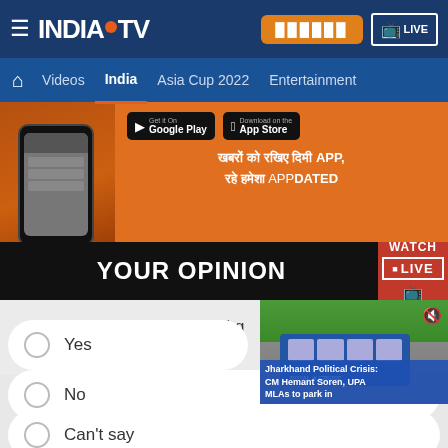INDIA TV — Top navigation bar with hamburger menu, logo, Hindi button, LIVE button
Navigation: Home | Videos | India | Asia Cup 2022 | Entertainment
[Figure (screenshot): Orange promotional banner showing India TV app download prompt with Google Play and App Store buttons, Hindi text about app update]
YOUR OPINION
Do you believe Jharkhand g murder ca
[Figure (screenshot): Thumbnail overlay showing a blue bus with caption: Jharkhand Political Crisis: CM Hemant Soren, UPA MLAs to park in]
Yes
No
Can't say